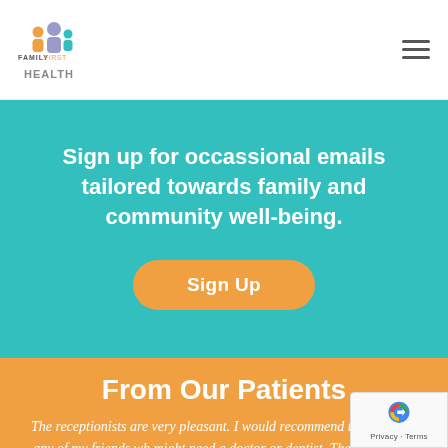Family First Health
Sign up for occassional emails tailored towards family and community well-being.
Sign Up
From Our Patients
The receptionists are very pleasant. I would recommend this office to any of my friends who might need a doctor or dentist. The fact that they have someone who can help translate for my